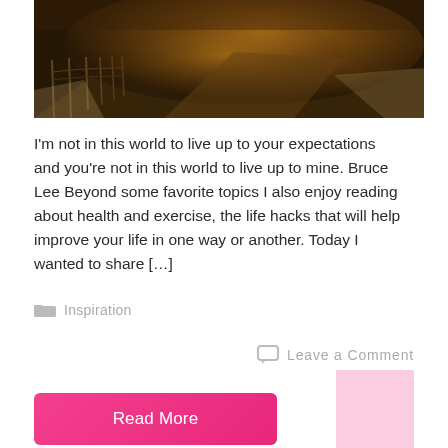[Figure (photo): A dark foggy nighttime road photograph with warm amber/orange glowing light, fence posts visible on the left side, road curving into misty distance]
I'm not in this world to live up to your expectations and you're not in this world to live up to mine. Bruce Lee Beyond some favorite topics I also enjoy reading about health and exercise, the life hacks that will help improve your life in one way or another. Today I wanted to share […]
Inspiration
Leave a Comment
Read More